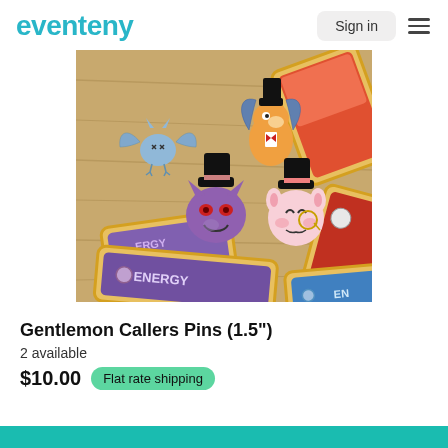eventeny
[Figure (photo): Photo of four enamel pins on a wooden surface surrounded by Pokemon energy cards. The pins depict Pokemon characters dressed as gentlemen with top hats: a bat-like creature, a dragon/Charizard, a ghost-like Gengar, and a round pink creature (Jigglypuff). Purple and blue energy cards labeled ENERGY are visible around the pins.]
Gentlemon Callers Pins (1.5")
2 available
$10.00  Flat rate shipping